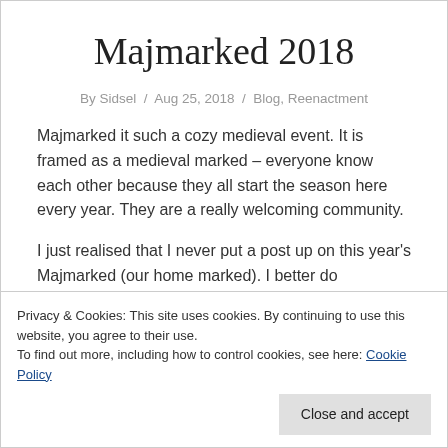Majmarked 2018
By Sidsel / Aug 25, 2018 / Blog, Reenactment
Majmarked it such a cozy medieval event. It is framed as a medieval marked – everyone know each other because they all start the season here every year. They are a really welcoming community.
I just realised that I never put a post up on this year's Majmarked (our home marked). I better do something about that.
Privacy & Cookies: This site uses cookies. By continuing to use this website, you agree to their use.
To find out more, including how to control cookies, see here: Cookie Policy